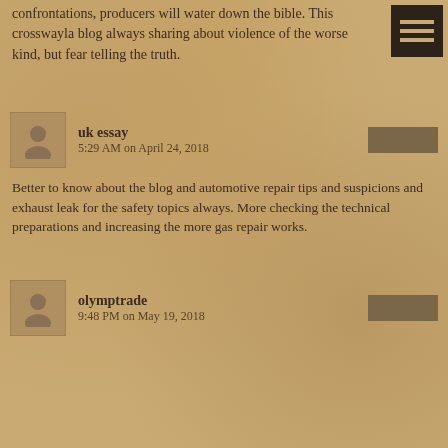confrontations, producers will water down the bible. This crosswayla blog always sharing about violence of the worse kind, but fear telling the truth.
uk essay
5:29 AM on April 24, 2018
Better to know about the blog and automotive repair tips and suspicions and exhaust leak for the safety topics always. More checking the technical preparations and increasing the more gas repair works.
olymptrade
9:48 PM on May 19, 2018
A very awesome blog post. We are really grateful for your blog post. You will find a lot of approaches after visiting your post. I was exactly searching for. Thanks for such post and please keep it up. Great work
Lentils
6:30 PM on July 1, 2018
This is just the information I am finding everywhere. Thanks for your blog, I just subscribe your blog. This is a nice blog..